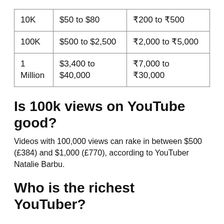| 10K | $50 to $80 | ₹200 to ₹500 |
| 100K | $500 to $2,500 | ₹2,000 to ₹5,000 |
| 1 Million | $3,400 to $40,000 | ₹7,000 to ₹30,000 |
Is 100k views on YouTube good?
Videos with 100,000 views can rake in between $500 (£384) and $1,000 (£770), according to YouTuber Natalie Barbu.
Who is the richest YouTuber?